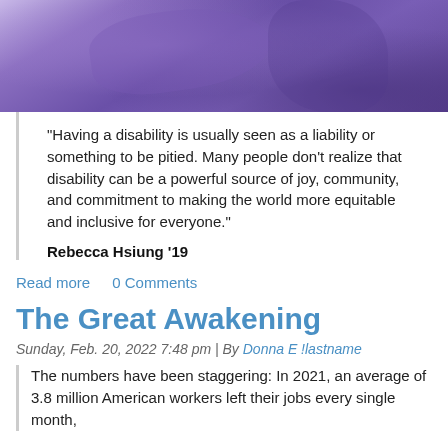[Figure (photo): Close-up photo of a person wearing a purple/violet garment or accessory, cropped at top]
“Having a disability is usually seen as a liability or something to be pitied. Many people don’t realize that disability can be a powerful source of joy, community, and commitment to making the world more equitable and inclusive for everyone.”
Rebecca Hsiung ’19
Read more   0 Comments
The Great Awakening
Sunday, Feb. 20, 2022 7:48 pm | By Donna E !lastname
The numbers have been staggering: In 2021, an average of 3.8 million American workers left their jobs every single month, according to the Bureau of Labor Statistics. We ha...